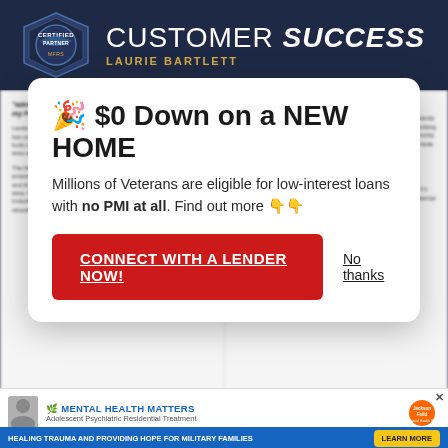CUSTOMER SUCCESS — LAURIE BARTLETT
🎉 $0 Down on a NEW HOME
Millions of Veterans are eligible for low-interest loans with no PMI at all. Find out more 👇👇
CONNECT WITH A LENDER NOW!
No thanks
advocate the Military Community to buy homes and grow my Florida Real Estate business.
Laurie Bartlett, a fairly new Real Estate agent at World Impact Real Estate has only been an agent for a little over 2.5 years. Laurie was looking to build on her professional brand, expand her reach to the northern Florida area and generate more Military leads to improve home sales.
The first thing MFRS did for Laurie was educate her on MFRS core value propositions, the Military Relocation Product - including the local process - and the featured agent requirements for specific Military installations in her area. By showing Laurie some tools that help guide her on examples and including live demos across the websites, she was very impressed with the relocation home page and the direct links to build a
[Figure (screenshot): Bottom advertisement bar for Jackson-Feild Mental Health Matters - Adolescent Psychiatric Residential Treatment for Military Families. Includes LEARN MORE button.]
MENTAL HEALTH MATTERS — Adolescent Psychiatric Residential Treatment — Healing Trauma and Providing Hope for Military Families — LEARN MORE